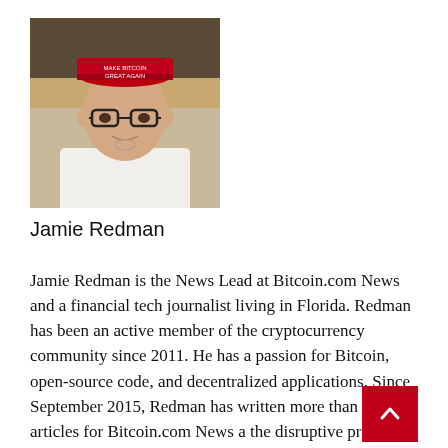[Figure (photo): Headshot photo of Jamie Redman wearing a red cap and white t-shirt, glasses, standing outdoors.]
Jamie Redman
Jamie Redman is the News Lead at Bitcoin.com News and a financial tech journalist living in Florida. Redman has been an active member of the cryptocurrency community since 2011. He has a passion for Bitcoin, open-source code, and decentralized applications. Since September 2015, Redman has written more than 5,000 articles for Bitcoin.com News and the disruptive protocols emerging today.